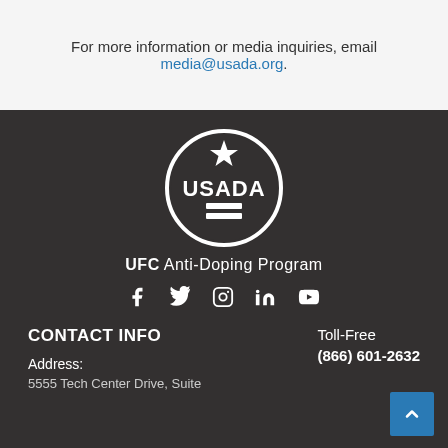For more information or media inquiries, email media@usada.org.
[Figure (logo): USADA UFC Anti-Doping Program circular logo with star, text USADA, and horizontal bars, white on dark background]
UFC Anti-Doping Program
[Figure (illustration): Social media icons: Facebook, Twitter, Instagram, LinkedIn, YouTube]
CONTACT INFO
Toll-Free
(866) 601-2632
Address:
5555 Tech Center Drive, Suite